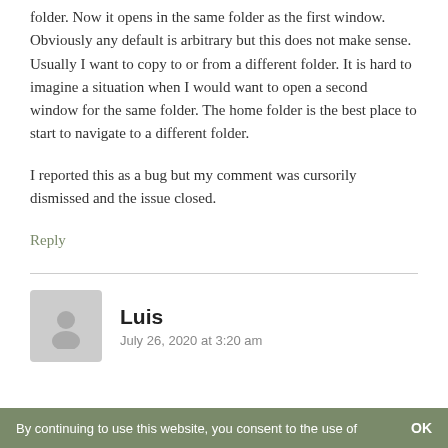folder. Now it opens in the same folder as the first window. Obviously any default is arbitrary but this does not make sense. Usually I want to copy to or from a different folder. It is hard to imagine a situation when I would want to open a second window for the same folder. The home folder is the best place to start to navigate to a different folder.
I reported this as a bug but my comment was cursorily dismissed and the issue closed.
Reply
[Figure (illustration): Gray avatar/profile placeholder image showing a person silhouette]
Luis
July 26, 2020 at 3:20 am
By continuing to use this website, you consent to the use of   OK